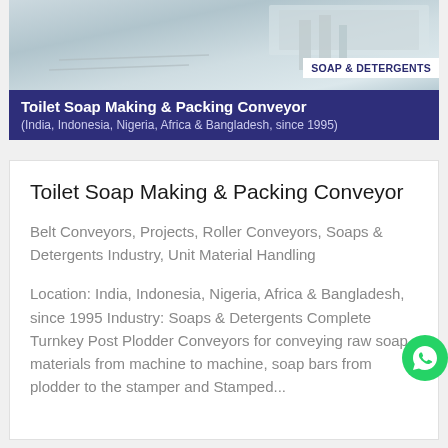[Figure (photo): Industrial conveyor machinery photo, light blue-grey tones, showing manufacturing equipment]
SOAP & DETERGENTS
Toilet Soap Making & Packing Conveyor
(India, Indonesia, Nigeria, Africa & Bangladesh, since 1995)
Toilet Soap Making & Packing Conveyor
Belt Conveyors, Projects, Roller Conveyors, Soaps & Detergents Industry, Unit Material Handling
Location: India, Indonesia, Nigeria, Africa & Bangladesh, since 1995 Industry: Soaps & Detergents Complete Turnkey Post Plodder Conveyors for conveying raw soap materials from machine to machine, soap bars from plodder to the stamper and Stamped...
[Figure (logo): WhatsApp green circle icon button]